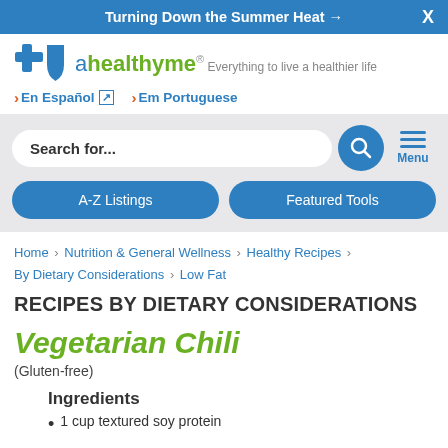Turning Down the Summer Heat →  X
[Figure (logo): Blue Cross Blue Shield plus ahealthyme logo with tagline 'Everything to live a healthier life']
› En Español ↗   › Em Portuguese
Search for...   [search button]   Menu
A-Z Listings   Featured Tools
Home › Nutrition & General Wellness › Healthy Recipes › By Dietary Considerations › Low Fat
RECIPES BY DIETARY CONSIDERATIONS
Vegetarian Chili
(Gluten-free)
Ingredients
1 cup textured soy protein